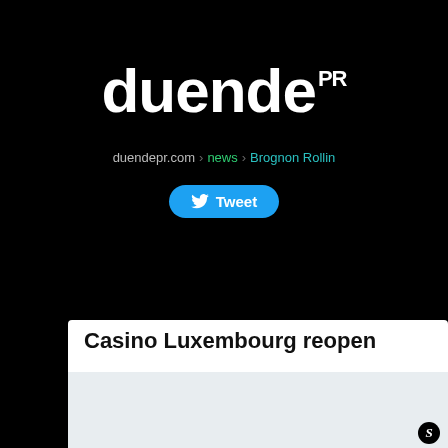[Figure (logo): duendePR logo: large white bold text 'duende' with superscript 'PR' on black background]
duendepr.com › news › Brognon Rollin
[Figure (other): Tweet button with Twitter bird icon, blue rounded rectangle]
Casino Luxembourg reopen